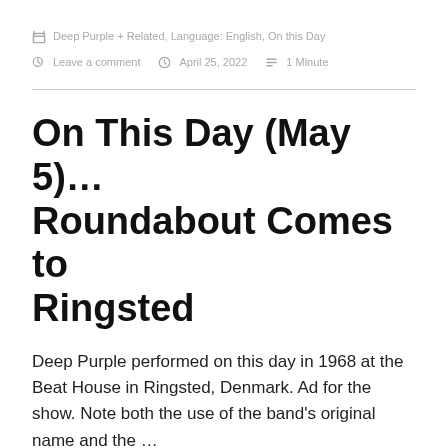Deep Purple + Related, Language: English, On this Day
Leave a comment   April 25, 2022   1 Minute
On This Day (May 5)… Roundabout Comes to Ringsted
Deep Purple performed on this day in 1968 at the Beat House in Ringsted, Denmark. Ad for the show. Note both the use of the band's original name and the …
Continue reading